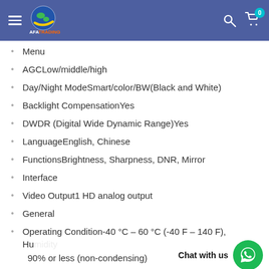AFA Trading - Menu navigation bar
Menu
AGCLow/middle/high
Day/Night ModeSmart/color/BW(Black and White)
Backlight CompensationYes
DWDR (Digital Wide Dynamic Range)Yes
LanguageEnglish, Chinese
FunctionsBrightness, Sharpness, DNR, Mirror
Interface
Video Output1 HD analog output
General
Operating Condition-40 °C – 60 °C (-40 F – 140 F), Humidity 90% or less (non-condensing)